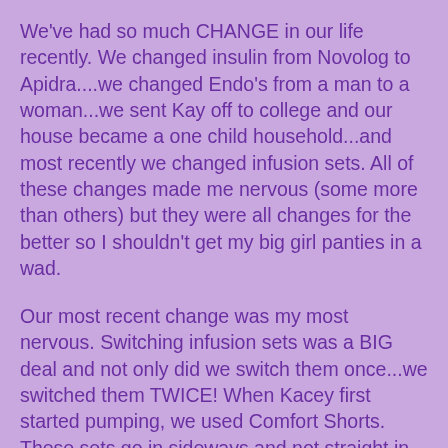We've had so much CHANGE in our life recently. We changed insulin from Novolog to Apidra....we changed Endo's from a man to a woman...we sent Kay off to college and our house became a one child household...and most recently we changed infusion sets. All of these changes made me nervous (some more than others) but they were all changes for the better so I shouldn't get my big girl panties in a wad.
Our most recent change was my most nervous. Switching infusion sets was a BIG deal and not only did we switch them once...we switched them TWICE! When Kacey first started pumping, we used Comfort Shorts. These sets go in sideways and not straight in so the risk of a bent cannula lessened. These were the sets we were told to use as well since Kacey had a "little more fat" to put them in. She was scared of the automatic insert ones and I had to learn the manual insert ones. This was a learning curve for me. I've always had a fear of needles and when Kacey was diagnosed, this sent me over the edge. I cried and sobbed when the nurse told me I had to stick my own child. I could barely stand getting stuck myself because of a bad